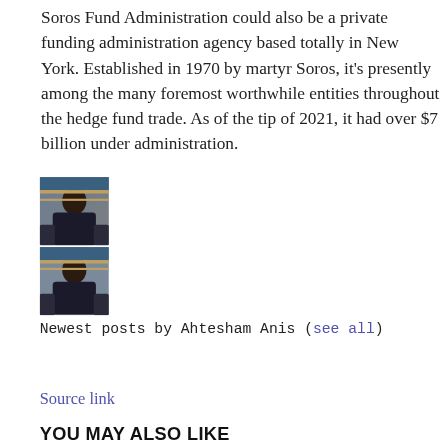Soros Fund Administration could also be a private funding administration agency based totally in New York. Established in 1970 by martyr Soros, it's presently among the many foremost worthwhile entities throughout the hedge fund trade. As of the tip of 2021, it had over $7 billion under administration.
[Figure (photo): Two stacked photos of a man (Ahtesham Anis) wearing a dark jacket, seated indoors]
Newest posts by Ahtesham Anis (see all)
Source link
YOU MAY ALSO LIKE